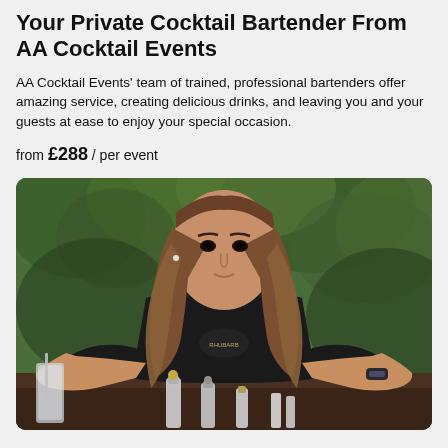Your Private Cocktail Bartender From AA Cocktail Events
AA Cocktail Events' team of trained, professional bartenders offer amazing service, creating delicious drinks, and leaving you and your guests at ease to enjoy your special occasion.
from £288 / per event
[Figure (photo): A young female bartender with long brown hair, wearing a black t-shirt, leaning over a bar with cocktail equipment in the foreground, green foliage in the background.]